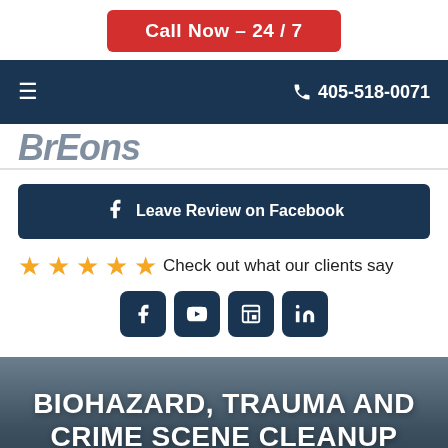Call Now – 24 / 7
405-518-0071
[Figure (logo): Partial logo text, dark blue italic bold text partially visible]
Leave Review on Facebook
★★★★★ Check out what our clients say
[Figure (infographic): Social media icons: Facebook, YouTube, Google Business, LinkedIn]
BIOHAZARD, TRAUMA AND CRIME SCENE CLEANUP